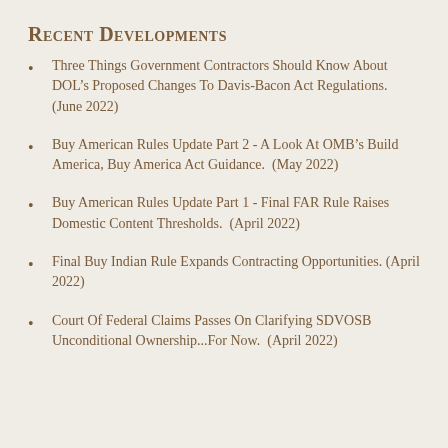Recent Developments
Three Things Government Contractors Should Know About DOL’s Proposed Changes To Davis-Bacon Act Regulations. (June 2022)
Buy American Rules Update Part 2 - A Look At OMB’s Build America, Buy America Act Guidance. (May 2022)
Buy American Rules Update Part 1 - Final FAR Rule Raises Domestic Content Thresholds. (April 2022)
Final Buy Indian Rule Expands Contracting Opportunities. (April 2022)
Court Of Federal Claims Passes On Clarifying SDVOSB Unconditional Ownership...For Now. (April 2022)